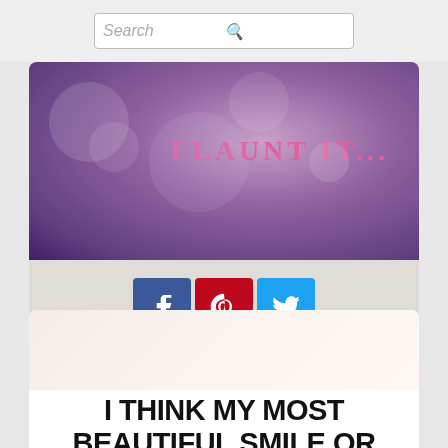[Figure (screenshot): Search bar at top of webpage with placeholder text 'Search' and a magnifying glass icon]
[Figure (photo): Purple/violet bokeh background banner image with text 'FLAUNT IT...' in pink lettering, followed by a row of social share icons for Facebook, Pinterest, and Twitter]
I THINK MY MOST BEAUTIFUL SMILE OR LAUGH EMERGES WHEN